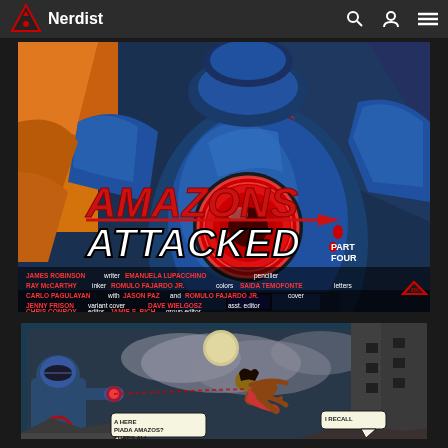Nerdist
[Figure (illustration): Comic book cover art showing an armored superhero in blue metallic suit with a large red circular chest piece. Red stylized title text reads AMAZONS ATTACKED PART FOUR. Credits list James Robinson (writer), Emanuela Lupacchino (penciller), Ray McCarthy (inker), Romulo Fajardo Jr. (colors), Saida Temofonte (letters), Carlo Pagulayan with Jason Paz and Romulo Fajardo Jr. (cover), Jenny Frison (variant cover), Dave Wielgosz (asst. editor), Chris Conroy (editor), Jamie S. Rich (group editor). Wonder Woman created by William Moulton Marston.]
[Figure (illustration): Interior comic page panel showing two characters in action: an armored figure on the left and a flying figure on the right, with speech bubbles reading A HERE PIADA AMAZOS? THATS ALL... and I RECALL. Background shows a ruined urban environment.]